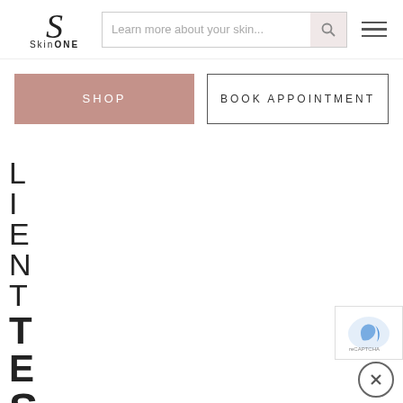[Figure (logo): SkinONE logo with stylized S and brand name]
Learn more about your skin...
SHOP
BOOK APPOINTMENT
CLIENTTESTIMONIALS (vertical text)
[Figure (logo): reCAPTCHA badge logo]